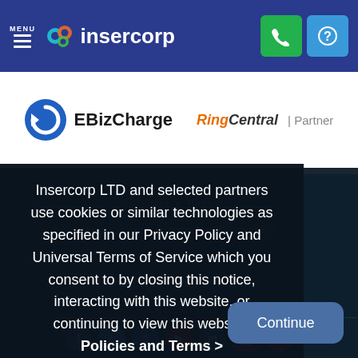MENU | insercorp
[Figure (logo): EBizCharge logo with blue circular arrow icon and bold text EBizCharge]
[Figure (logo): RingCentral Partner logo with orange and black RingCentral text and Partner label]
Insercorp LTD and selected partners use cookies or similar technologies as specified in our Privacy Policy and Universal Terms of Service which you consent to by closing this notice, interacting with this website, or continuing to view this website. Policies and Terms >
Continue